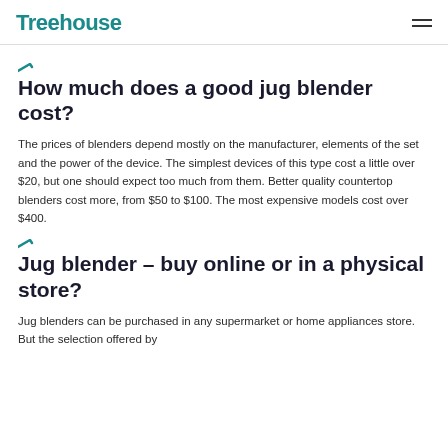Treehouse
How much does a good jug blender cost?
The prices of blenders depend mostly on the manufacturer, elements of the set and the power of the device. The simplest devices of this type cost a little over $20, but one should expect too much from them. Better quality countertop blenders cost more, from $50 to $100. The most expensive models cost over $400.
Jug blender – buy online or in a physical store?
Jug blenders can be purchased in any supermarket or home appliances store. But the selection offered by